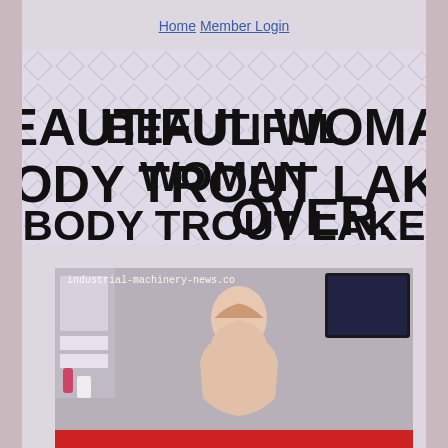Home  Member Login
BEAUTIFUL WOMAN BODY TROUT LAKE OVER.
[Figure (photo): Photo of a woman in an indoor setting with shelving unit, TV screen in background, and a red accent at the bottom. Watermark text reads: industrial-machinery-news.co]